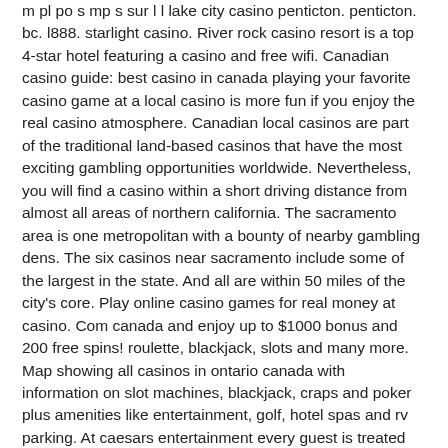m pl po s mp s sur l l lake city casino penticton. penticton. bc. l888. starlight casino. River rock casino resort is a top 4-star hotel featuring a casino and free wifi. Canadian casino guide: best casino in canada playing your favorite casino game at a local casino is more fun if you enjoy the real casino atmosphere. Canadian local casinos are part of the traditional land-based casinos that have the most exciting gambling opportunities worldwide. Nevertheless, you will find a casino within a short driving distance from almost all areas of northern california. The sacramento area is one metropolitan with a bounty of nearby gambling dens. The six casinos near sacramento include some of the largest in the state. And all are within 50 miles of the city's core. Play online casino games for real money at casino. Com canada and enjoy up to $1000 bonus and 200 free spins! roulette, blackjack, slots and many more. Map showing all casinos in ontario canada with information on slot machines, blackjack, craps and poker plus amenities like entertainment, golf, hotel spas and rv parking. At caesars entertainment every guest is treated like caesar and every visit is unforgettable. Enjoy the world's best hotels, casinos, restaurants, shows and more Try to avoid to make a first deposit into new companies with hidden founders and unprofessional websites, canada casino near me. Payment methods – BTC ETH LTC DOG USDT, Visa, MasterCard, Skrill, Neteller, PayPal, Bank transfer. Welcome bonus debit card, canada casino careers